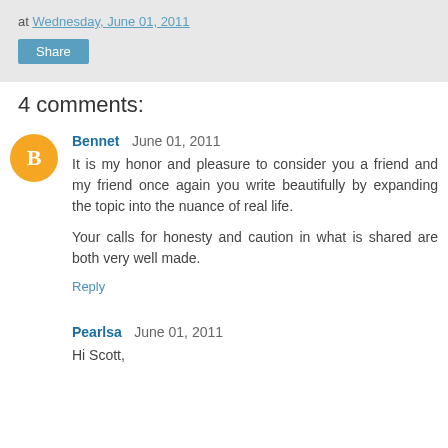at Wednesday, June 01, 2011
Share
4 comments:
Bennet  June 01, 2011
It is my honor and pleasure to consider you a friend and my friend once again you write beautifully by expanding the topic into the nuance of real life.

Your calls for honesty and caution in what is shared are both very well made.
Reply
Pearlsa  June 01, 2011
Hi Scott,